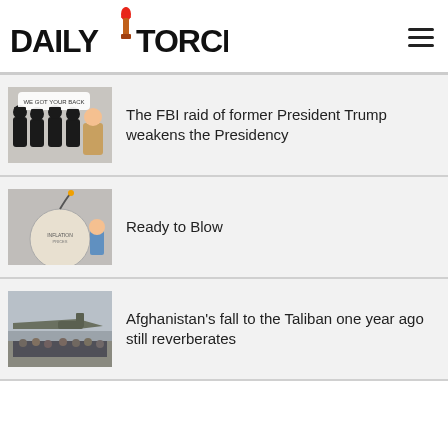DAILY TORCH
The FBI raid of former President Trump weakens the Presidency
Ready to Blow
Afghanistan's fall to the Taliban one year ago still reverberates